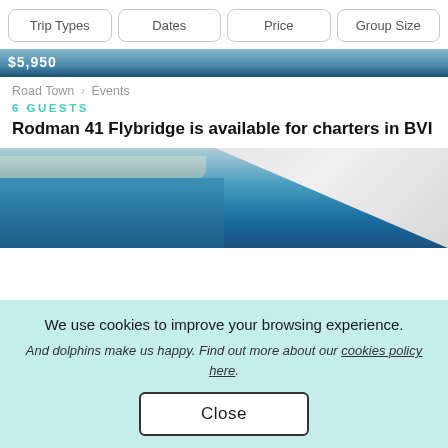Trip Types | Dates | Price | Group Size
[Figure (photo): Partial view of boat image with price tag showing $5,950]
Road Town > Events
6 GUESTS
Rodman 41 Flybridge is available for charters in BVI
[Figure (photo): Sailboat on blue ocean water with shoreline visible in background]
We use cookies to improve your browsing experience. And dolphins make us happy. Find out more about our cookies policy here.
Close